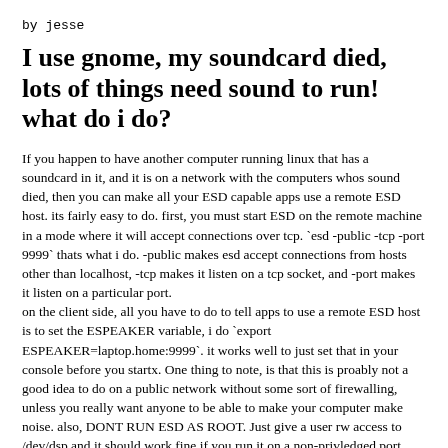by jesse
I use gnome, my soundcard died, lots of things need sound to run! what do i do?
If you happen to have another computer running linux that has a soundcard in it, and it is on a network with the computers whos sound died, then you can make all your ESD capable apps use a remote ESD host. its fairly easy to do. first, you must start ESD on the remote machine in a mode where it will accept connections over tcp. `esd -public -tcp -port 9999` thats what i do. -public makes esd accept connections from hosts other than localhost, -tcp makes it listen on a tcp socket, and -port makes it listen on a particular port.
on the client side, all you have to do to tell apps to use a remote ESD host is to set the ESPEAKER variable, i do `export ESPEAKER=laptop.home:9999`. it works well to just set that in your console before you startx. One thing to note, is that this is proably not a good idea to do on a public network without some sort of firewalling, unless you really want anyone to be able to make your computer make noise. also, DONT RUN ESD AS ROOT. Just give a user rw access to /dev/dsp and it should work fine if you run it on a non-privledged port.